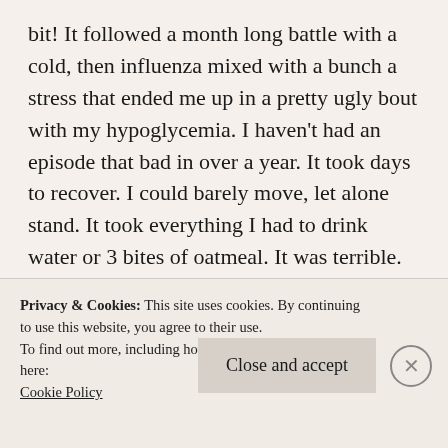bit! It followed a month long battle with a cold, then influenza mixed with a bunch a stress that ended me up in a pretty ugly bout with my hypoglycemia. I haven't had an episode that bad in over a year. It took days to recover. I could barely move, let alone stand. It took everything I had to drink water or 3 bites of oatmeal. It was terrible.
I felt lifeless. I was scared. I remember waking up my boyfriend telling him it was worse than I thought and I was scared to go to the hospital...
Privacy & Cookies: This site uses cookies. By continuing to use this website, you agree to their use.
To find out more, including how to control cookies, see here: Cookie Policy
Close and accept